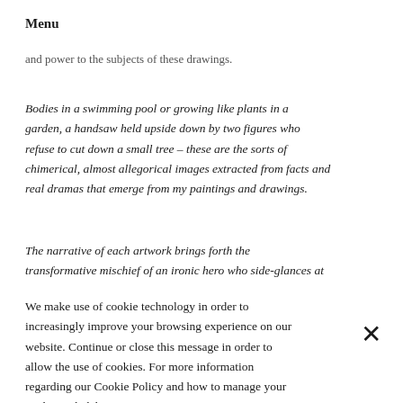Menu
and power to the subjects of these drawings.
Bodies in a swimming pool or growing like plants in a garden, a handsaw held upside down by two figures who refuse to cut down a small tree – these are the sorts of chimerical, almost allegorical images extracted from facts and real dramas that emerge from my paintings and drawings.
The narrative of each artwork brings forth the transformative mischief of an ironic hero who side-glances at
We make use of cookie technology in order to increasingly improve your browsing experience on our website. Continue or close this message in order to allow the use of cookies. For more information regarding our Cookie Policy and how to manage your cookies, click here.